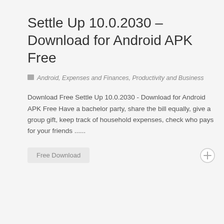Settle Up 10.0.2030 – Download for Android APK Free
Android, Expenses and Finances, Productivity and Business
Download Free Settle Up 10.0.2030 - Download for Android APK Free Have a bachelor party, share the bill equally, give a group gift, keep track of household expenses, check who pays for your friends ......
[Figure (illustration): Free Download button — a light grey rounded rectangle button with grey text 'Free Download']
[Figure (illustration): A circular plus/add icon with a thin border on the right side of the page]